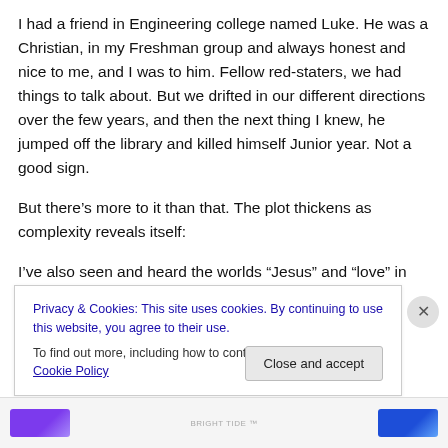I had a friend in Engineering college named Luke.  He was a Christian, in my Freshman group and always honest and nice to me, and I was to him.  Fellow red-staters, we had things to talk about.  But we drifted in our different directions over the few years, and then the next thing I knew, he jumped off the library and killed himself Junior year.  Not a good sign.
But there's more to it than that.  The plot thickens as complexity reveals itself:
I've also seen and heard the worlds “Jesus” and “love” in
Privacy & Cookies: This site uses cookies. By continuing to use this website, you agree to their use.
To find out more, including how to control cookies, see here: Cookie Policy